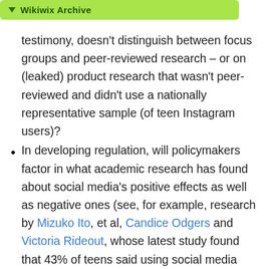Wikiwix Archive
testimony, doesn't distinguish between focus groups and peer-reviewed research – or on (leaked) product research that wasn't peer-reviewed and didn't use a nationally representative sample (of teen Instagram users)?
In developing regulation, will policymakers factor in what academic research has found about social media's positive effects as well as negative ones (see, for example, research by Mizuko Ito, et al, Candice Odgers and Victoria Rideout, whose latest study found that 43% of teens said using social media